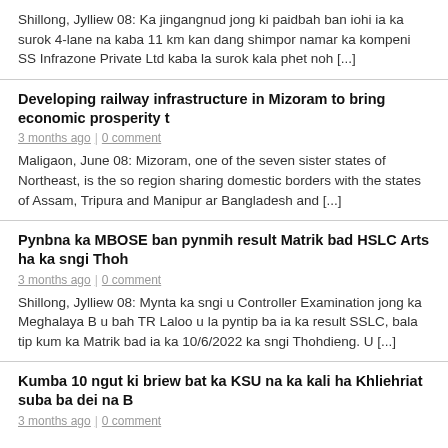Shillong, Jylliew 08: Ka jingangnud jong ki paidbah ban iohi ia ka surok 4-lane na kaba 11 km kan dang shimpor namar ka kompeni SS Infrazone Private Ltd kaba la surok kala phet noh [...]
Developing railway infrastructure in Mizoram to bring economic prosperity t
3 months ago  |  0 comment
Maligaon, June 08: Mizoram, one of the seven sister states of Northeast, is the so region sharing domestic borders with the states of Assam, Tripura and Manipur ar Bangladesh and [...]
Pynbna ka MBOSE ban pynmih result Matrik bad HSLC Arts ha ka sngi Thoh
3 months ago  |  0 comment
Shillong, Jylliew 08: Mynta ka sngi u Controller Examination jong ka Meghalaya B u bah TR Laloo u la pyntip ba ia ka result SSLC, bala tip kum ka Matrik bad ia ka  10/6/2022 ka sngi Thohdieng. U [...]
Kumba 10 ngut ki briew bat ka KSU na ka kali ha Khliehriat suba ba dei na B
3 months ago  |  0 comment